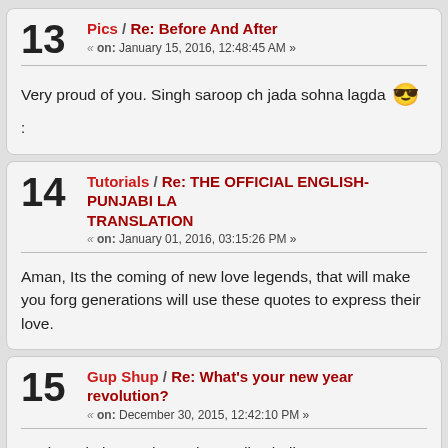13 Pics / Re: Before And After « on: January 15, 2016, 12:48:45 AM »
Very proud of you. Singh saroop ch jada sohna lagda :
14 Tutorials / Re: THE OFFICIAL ENGLISH-PUNJABI LA... TRANSLATION « on: January 01, 2016, 03:15:26 PM »
Aman, Its the coming of new love legends, that will make you forg... generations will use these quotes to express their love.
15 Gup Shup / Re: What's your new year revolution? « on: December 30, 2015, 12:42:10 PM »
Meri revolution te shuru ah, appdi saheli nu manona nawe saal to...